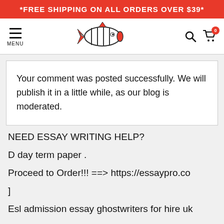*FREE SHIPPING ON ALL ORDERS OVER $39*
[Figure (logo): Bomb logo - cartoon fish-shaped bomb with stripes]
Your comment was posted successfully. We will publish it in a little while, as our blog is moderated.
NEED ESSAY WRITING HELP?
D day term paper .
Proceed to Order!!! ==> https://essaypro.co
]
Esl admission essay ghostwriters for hire uk